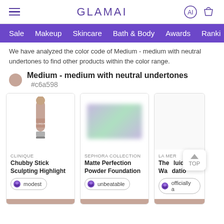GLAMAI
Sale  Makeup  Skincare  Bath & Body  Awards  Ranki...
We have analyzed the color code of Medium - medium with neutral undertones to find other products within the color range.
Medium - medium with neutral undertones #c6a598
[Figure (photo): Clinique Chubby Stick Sculpting Highlight product photo - a beige/nude stick]
CLINIQUE
Chubby Stick Sculpting Highlight
modest
[Figure (photo): Sephora Collection Matte Perfection Powder Foundation - blurred product image]
SEPHORA COLLECTION
Matte Perfection Powder Foundation
unbeatable
[Figure (photo): La Mer - The Fluid L... W... datio... product - partially visible, cut off]
La Mer
The... Fluid L... W... ...datio...
officially a...